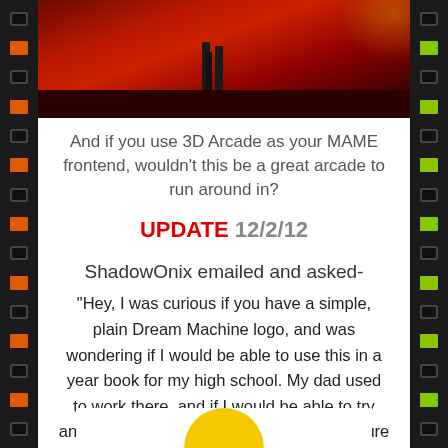[Figure (photo): Top portion of an arcade/game scene with dark red background showing legs of figures and a floor area]
And if you use 3D Arcade as your MAME frontend, wouldn't this be a great arcade to run around in?
UPDATE 12/2/12
ShadowOnix emailed and asked-
“Hey, I was curious if you have a simple, plain Dream Machine logo, and was wondering if I would be able to use this in a year book for my high school. My dad used to work there, and if I would be able to try and get it in there, and bring it to him I’m sure he would love it.” well here ya’ go!
[Figure (illustration): Bottom partial view of a yellow arc/logo shape]